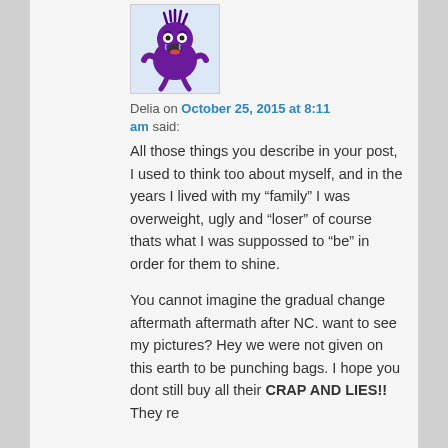[Figure (illustration): Purple cartoon monster character with spiky hair, big eyes and open mouth, small arms and legs, scared expression]
Delia on October 25, 2015 at 8:11 am said:
All those things you describe in your post, I used to think too about myself, and in the years I lived with my “family” I was overweight, ugly and “loser” of course thats what I was suppossed to “be” in order for them to shine.

You cannot imagine the gradual change aftermath aftermath after NC. want to see my pictures? Hey we were not given on this earth to be punching bags. I hope you dont still buy all their CRAP AND LIES!! They re